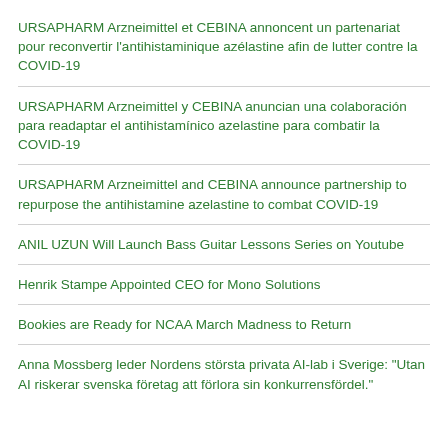URSAPHARM Arzneimittel et CEBINA annoncent un partenariat pour reconvertir l'antihistaminique azélastine afin de lutter contre la COVID-19
URSAPHARM Arzneimittel y CEBINA anuncian una colaboración para readaptar el antihistamínico azelastine para combatir la COVID-19
URSAPHARM Arzneimittel and CEBINA announce partnership to repurpose the antihistamine azelastine to combat COVID-19
ANIL UZUN Will Launch Bass Guitar Lessons Series on Youtube
Henrik Stampe Appointed CEO for Mono Solutions
Bookies are Ready for NCAA March Madness to Return
Anna Mossberg leder Nordens största privata AI-lab i Sverige: "Utan AI riskerar svenska företag att förlora sin konkurrensfördel."